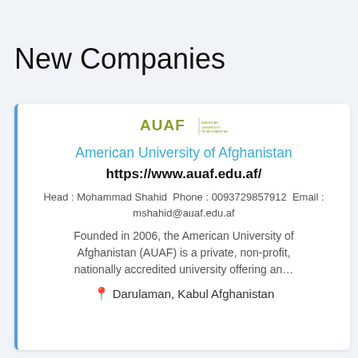New Companies
[Figure (logo): AUAF American University of Afghanistan logo]
American University of Afghanistan
https://www.auaf.edu.af/
Head : Mohammad Shahid Phone : 0093729857912 Email : mshahid@auaf.edu.af
Founded in 2006, the American University of Afghanistan (AUAF) is a private, non-profit, nationally accredited university offering an…
Darulaman, Kabul Afghanistan